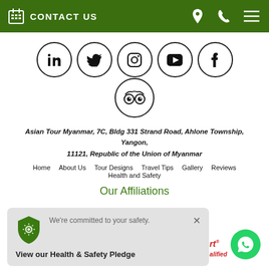CONTACT US
[Figure (illustration): Row of social media icons in circles: LinkedIn, Twitter, Instagram, YouTube, Facebook]
[Figure (illustration): TripAdvisor icon in a circle]
Asian Tour Myanmar, 7C, Bldg 331 Strand Road, Ahlone Township, Yangon, 11121, Republic of the Union of Myanmar
Home   About Us   Tour Designs   Travel Tips   Gallery   Reviews   Health and Safety
Our Affiliations
We're committed to your safety. View our Health & Safety Pledge